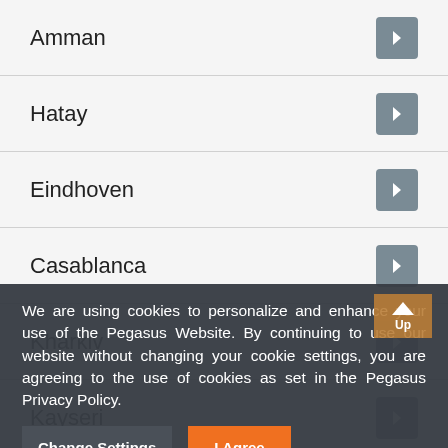Amman
Hatay
Eindhoven
Casablanca
Kharkiv
Kayseri
Kars
Cairo
Hamburg
We are using cookies to personalize and enhance your use of the Pegasus Website. By continuing to use our website without changing your cookie settings, you are agreeing to the use of cookies as set in the Pegasus Privacy Policy.